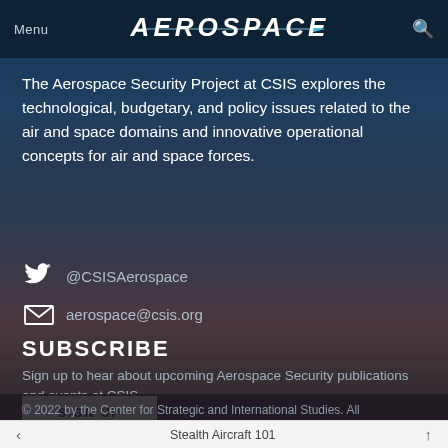Menu  AEROSPACE  🔍
The Aerospace Security Project at CSIS explores the technological, budgetary, and policy issues related to the air and space domains and innovative operational concepts for air and space forces.
@CSISAerospace
aerospace@csis.org
SUBSCRIBE
Sign up to hear about upcoming Aerospace Security publications and events at CSIS.
SIGN UP
© 2022 by the Center for Strategic and International Studies. All
Stealth Aircraft 101